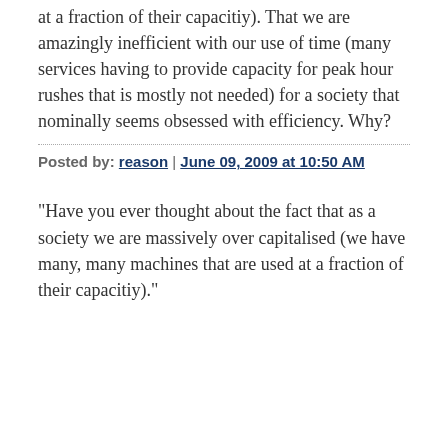at a fraction of their capacitiy). That we are amazingly inefficient with our use of time (many services having to provide capacity for peak hour rushes that is mostly not needed) for a society that nominally seems obsessed with efficiency. Why?
Posted by: reason | June 09, 2009 at 10:50 AM
"Have you ever thought about the fact that as a society we are massively over capitalised (we have many, many machines that are used at a fraction of their capacitiy)."